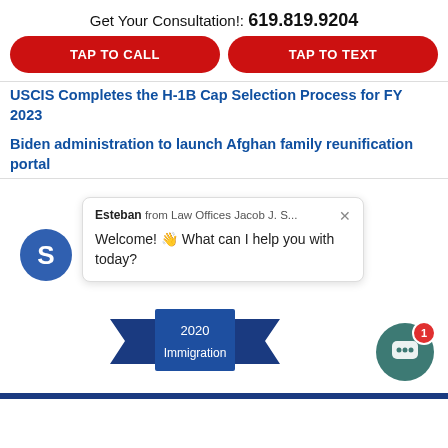Get Your Consultation!: 619.819.9204
TAP TO CALL
TAP TO TEXT
USCIS Completes the H-1B Cap Selection Process for FY 2023
Biden administration to launch Afghan family reunification portal
[Figure (screenshot): Chat widget popup with avatar showing 'Esteban from Law Offices Jacob J. S...' and message 'Welcome! 👋 What can I help you with today?']
[Figure (infographic): Award badge showing '2020 Immigration']
[Figure (infographic): Teal chat button with notification badge showing count 1]